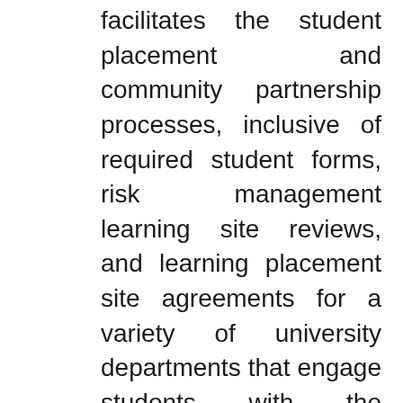facilitates the student placement and community partnership processes, inclusive of required student forms, risk management learning site reviews, and learning placement site agreements for a variety of university departments that engage students with the community. This position provides first-line direct user-support and engages in outreach and communications with faculty, staff, community partners, and students on navigating and using these systems, inclusive of organizing, coordinating, and facilitating information sessions (individual and group), orientations, and classroom presentations. The coordinator develops, maintains, and sustains partnerships that support the mission of ICCE and compliment the University's strategic goals. The coordinator is also responsible for compiling, analyzing, and preparing relevant